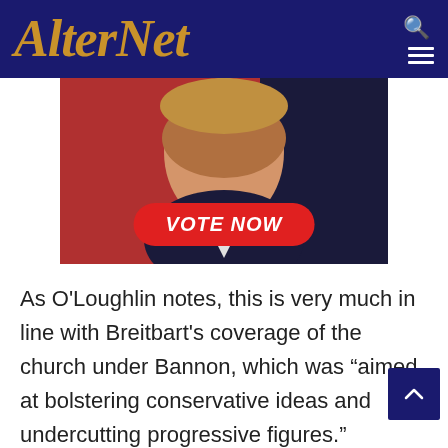AlterNet
[Figure (photo): Photo of a man in a dark suit with an American flag in the background, overlaid with a red 'VOTE NOW' button]
As O'Loughlin notes, this is very much in line with Breitbart's coverage of the church under Bannon, which was “aimed at bolstering conservative ideas and undercutting progressive figures.”
And this explains much of the conservative Catholic movement over the past twenty years